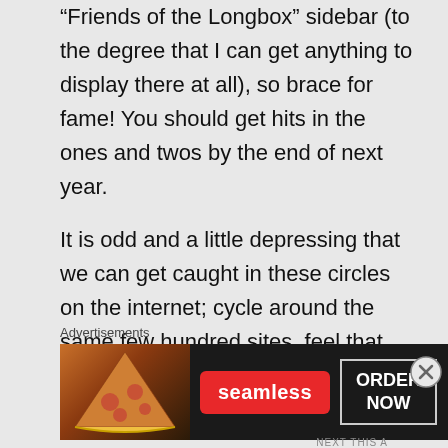“Friends of the Longbox” sidebar (to the degree that I can get anything to display there at all), so brace for fame! You should get hits in the ones and twos by the end of next year.

It is odd and a little depressing that we can get caught in these circles on the internet; cycle around the same few hundred sites, feel that we’ve reached the
Advertisements
[Figure (other): Seamless food delivery advertisement banner with pizza image on left, Seamless red logo in center, and ORDER NOW button on right, dark background]